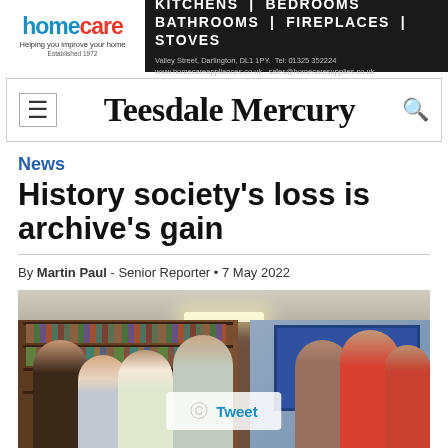[Figure (other): Advertisement banner for Homecare appliances: kitchens, bedrooms, bathrooms, fireplaces, stoves. Valley Street, Darlington, DL1 1PY. Tel: 01325 352224. www.homecareappliances.co.uk sales@homecaresupplies.co.uk. Established 1972.]
Teesdale Mercury
News
History society's loss is archive's gain
By Martin Paul - Senior Reporter • 7 May 2022
[Figure (photo): Group photo of elderly people in a library/archive room with bookshelves in the background and a Tweet overlay button visible.]